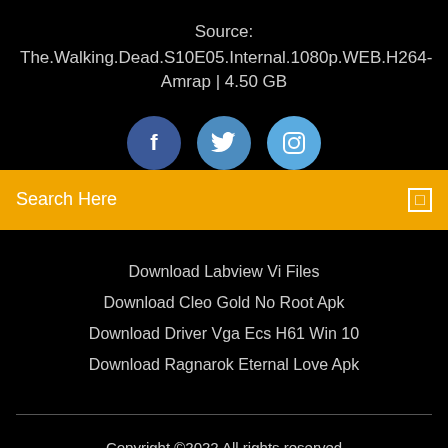Source:
The.Walking.Dead.S10E05.Internal.1080p.WEB.H264-Amrap | 4.50 GB
[Figure (illustration): Three social media icon circles: Facebook (dark blue), Twitter (medium blue), Instagram (light blue)]
Search Here
Download Labview Vi Files
Download Cleo Gold No Root Apk
Download Driver Vga Ecs H61 Win 10
Download Ragnarok Eternal Love Apk
Copyright ©2022 All rights reserved